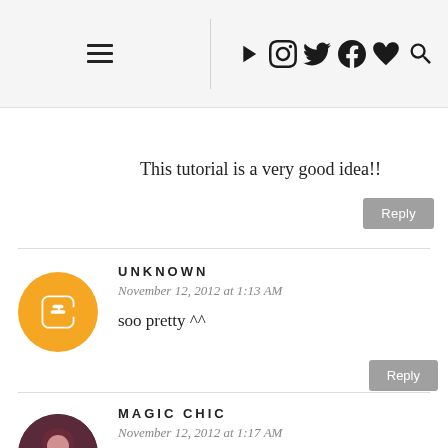Navigation header with hamburger menu, social icons (YouTube, Instagram, Twitter, Facebook, Heart, Search)
This tutorial is a very good idea!!
UNKNOWN
November 12, 2012 at 1:13 AM
soo pretty ^^
MAGIC CHIC
November 12, 2012 at 1:17 AM